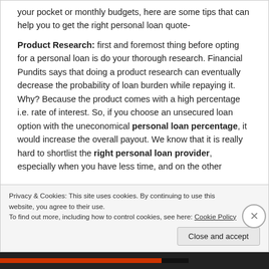your pocket or monthly budgets, here are some tips that can help you to get the right personal loan quote-
Product Research: first and foremost thing before opting for a personal loan is do your thorough research. Financial Pundits says that doing a product research can eventually decrease the probability of loan burden while repaying it. Why? Because the product comes with a high percentage i.e. rate of interest. So, if you choose an unsecured loan option with the uneconomical personal loan percentage, it would increase the overall payout. We know that it is really hard to shortlist the right personal loan provider, especially when you have less time, and on the other
Privacy & Cookies: This site uses cookies. By continuing to use this website, you agree to their use.
To find out more, including how to control cookies, see here: Cookie Policy
Close and accept